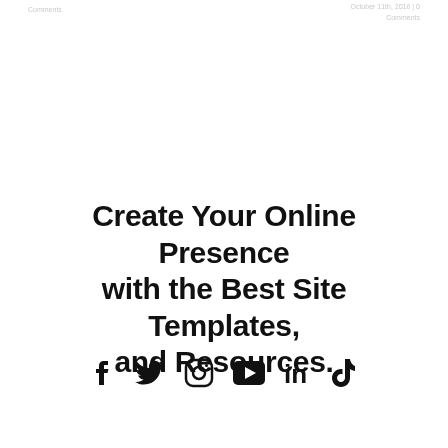Comments
October 11th, 2016 | 0 Comments
Create Your Online Presence with the Best Site Templates, and Resources.
[Figure (illustration): Social media icons: Facebook, Twitter, Instagram, YouTube, LinkedIn, TikTok]